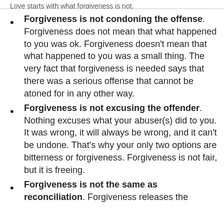Love starts with what forgiveness is not.
Forgiveness is not condoning the offense. Forgiveness does not mean that what happened to you was ok. Forgiveness doesn't mean that what happened to you was a small thing. The very fact that forgiveness is needed says that there was a serious offense that cannot be atoned for in any other way.
Forgiveness is not excusing the offender. Nothing excuses what your abuser(s) did to you. It was wrong, it will always be wrong, and it can't be undone. That's why your only two options are bitterness or forgiveness. Forgiveness is not fair, but it is freeing.
Forgiveness is not the same as reconciliation. Forgiveness releases the